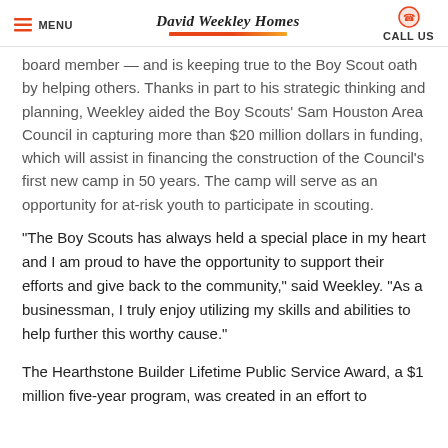MENU | David Weekley Homes | CALL US
board member — and is keeping true to the Boy Scout oath by helping others. Thanks in part to his strategic thinking and planning, Weekley aided the Boy Scouts' Sam Houston Area Council in capturing more than $20 million dollars in funding, which will assist in financing the construction of the Council's first new camp in 50 years. The camp will serve as an opportunity for at-risk youth to participate in scouting.
"The Boy Scouts has always held a special place in my heart and I am proud to have the opportunity to support their efforts and give back to the community," said Weekley. "As a businessman, I truly enjoy utilizing my skills and abilities to help further this worthy cause."
The Hearthstone Builder Lifetime Public Service Award, a $1 million five-year program, was created in an effort to